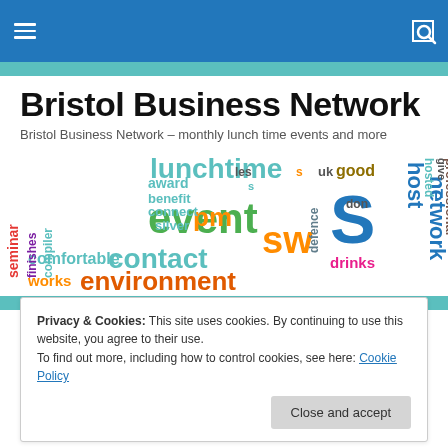Bristol Business Network – navigation bar
Bristol Business Network
Bristol Business Network – monthly lunch time events and more
[Figure (infographic): Word cloud with networking-related terms: lunchtime, event, sw, contact, environment, network, host, pm, comfortable, works, seminar, finishes, compiler, benefit, award, connect, silver, defence, don, drinks, uk, good, professional, hosted, pos, give, I, s, les, s]
Privacy & Cookies: This site uses cookies. By continuing to use this website, you agree to their use.
To find out more, including how to control cookies, see here: Cookie Policy
Close and accept